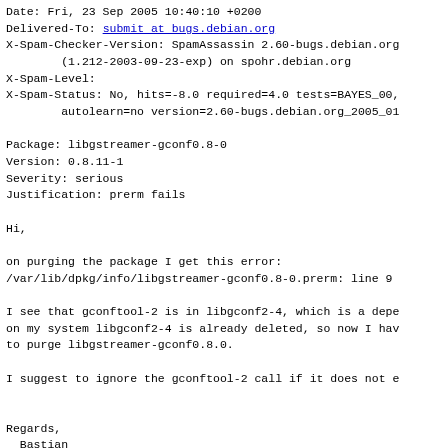Date: Fri, 23 Sep 2005 10:40:10 +0200
Delivered-To: submit at bugs.debian.org
X-Spam-Checker-Version: SpamAssassin 2.60-bugs.debian.org
        (1.212-2003-09-23-exp) on spohr.debian.org
X-Spam-Level:
X-Spam-Status: No, hits=-8.0 required=4.0 tests=BAYES_00,
        autolearn=no version=2.60-bugs.debian.org_2005_01
Package: libgstreamer-gconf0.8-0
Version: 0.8.11-1
Severity: serious
Justification: prerm fails
Hi,
on purging the package I get this error:
/var/lib/dpkg/info/libgstreamer-gconf0.8-0.prerm: line 9
I see that gconftool-2 is in libgconf2-4, which is a depe
on my system libgconf2-4 is already deleted, so now I hav
to purge libgstreamer-gconf0.8.0.
I suggest to ignore the gconftool-2 call if it does not e
Regards,
  Bastian
-- System Information:
Debian Release: testing/unstable
 -- APT...